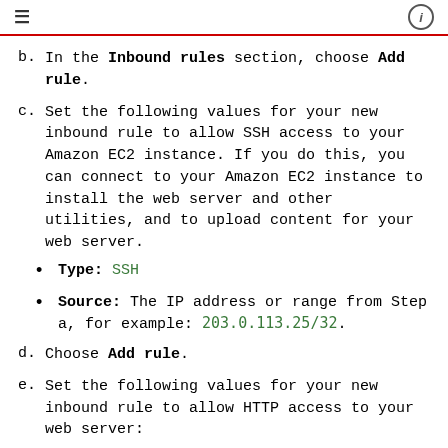≡  ⓘ
b. In the Inbound rules section, choose Add rule.
c. Set the following values for your new inbound rule to allow SSH access to your Amazon EC2 instance. If you do this, you can connect to your Amazon EC2 instance to install the web server and other utilities, and to upload content for your web server.
Type: SSH
Source: The IP address or range from Step a, for example: 203.0.113.25/32.
d. Choose Add rule.
e. Set the following values for your new inbound rule to allow HTTP access to your web server:
Type: HTTP